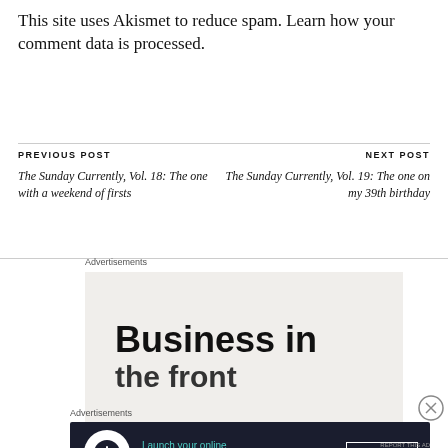This site uses Akismet to reduce spam. Learn how your comment data is processed.
PREVIOUS POST
NEXT POST
The Sunday Currently, Vol. 18: The one with a weekend of firsts
The Sunday Currently, Vol. 19: The one on my 39th birthday
Advertisements
[Figure (other): Advertisement banner showing 'Business in the front' text on light beige background]
Advertisements
[Figure (other): Dark advertisement banner: Launch your online course with WordPress — Learn More button]